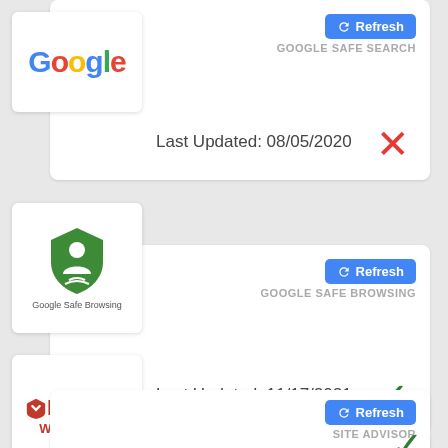[Figure (logo): Google logo]
Refresh
GOOGLE SAFE SEARCH
Last Updated: 08/05/2020
[Figure (logo): Google Safe Browsing shield logo]
Refresh
GOOGLE SAFE BROWSING
Last Updated: 11/17/2021
[Figure (logo): McAfee WebAdvisor logo]
Refresh
SITE ADVISOR